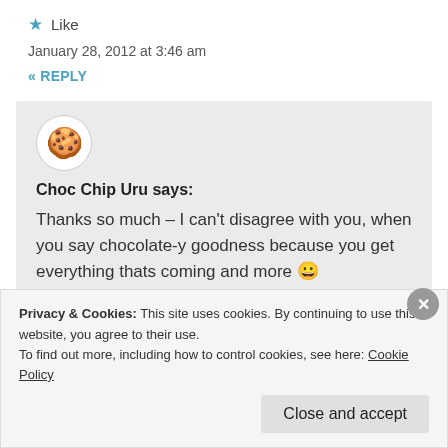★ Like
January 28, 2012 at 3:46 am
« REPLY
[Figure (illustration): Circular avatar icon showing a chocolate chip cookie on white background]
Choc Chip Uru says:
Thanks so much – I can't disagree with you, when you say chocolate-y goodness because you get everything thats coming and more 😀
Privacy & Cookies: This site uses cookies. By continuing to use this website, you agree to their use.
To find out more, including how to control cookies, see here: Cookie Policy
Close and accept